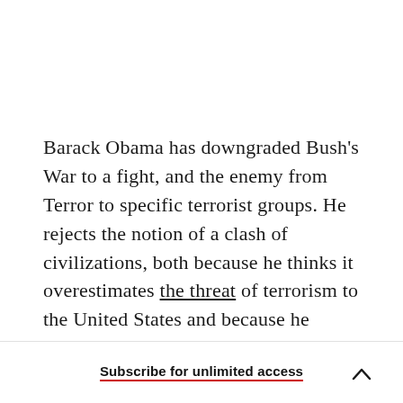Barack Obama has downgraded Bush's War to a fight, and the enemy from Terror to specific terrorist groups. He rejects the notion of a clash of civilizations, both because he thinks it overestimates the threat of terrorism to the United States and because he doesn't want to affirm the jihadists' narrative of a struggle between Islam and infidels in the W... Wh... U.S. ...d... "...
Subscribe for unlimited access